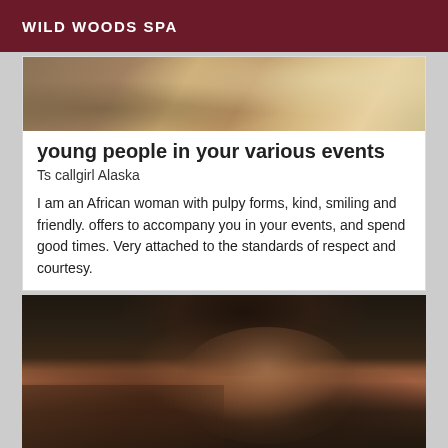WILD WOODS SPA
[Figure (photo): Partial photo showing a textured background with warm tones, top portion of a listing card]
young people in your various events
Ts callgirl Alaska
I am an African woman with pulpy forms, kind, smiling and friendly. offers to accompany you in your events, and spend good times. Very attached to the standards of respect and courtesy.
[Figure (photo): Photo of a young person with brown hair looking toward camera, dark background]